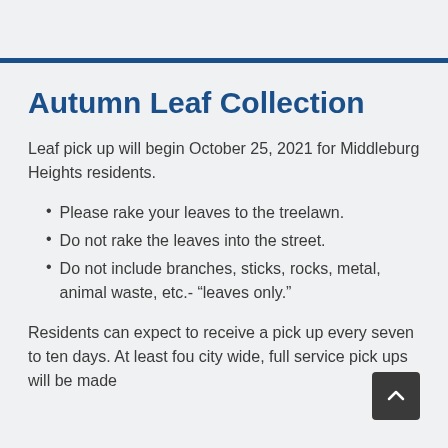Autumn Leaf Collection
Leaf pick up will begin October 25, 2021 for Middleburg Heights residents.
Please rake your leaves to the treelawn.
Do not rake the leaves into the street.
Do not include branches, sticks, rocks, metal, animal waste, etc.- “leaves only.”
Residents can expect to receive a pick up every seven to ten days. At least four city wide, full service pick ups will be made